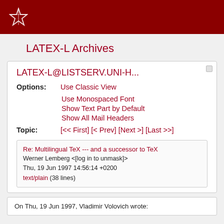LATEX-L Archives
LATEX-L@LISTSERV.UNI-H...
Options: Use Classic View
Use Monospaced Font
Show Text Part by Default
Show All Mail Headers
Topic: [<< First] [< Prev] [Next >] [Last >>]
Re: Multilingual TeX --- and a successor to TeX
Werner Lemberg <[log in to unmask]>
Thu, 19 Jun 1997 14:56:14 +0200
text/plain (38 lines)
On Thu, 19 Jun 1997, Vladimir Volovich wrote: